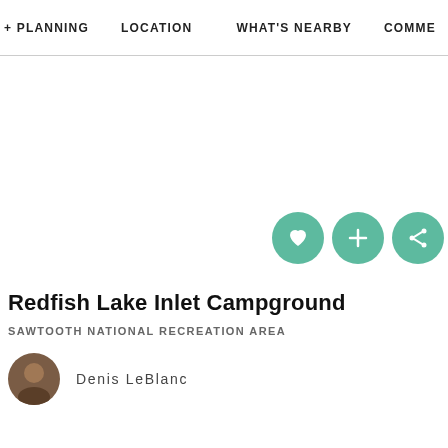+ PLANNING    LOCATION    WHAT'S NEARBY    COMME
[Figure (photo): Large white/blank image area representing a campground photo with action buttons (heart, plus, share) in teal circles at bottom right]
Redfish Lake Inlet Campground
SAWTOOTH NATIONAL RECREATION AREA
Denis LeBlanc